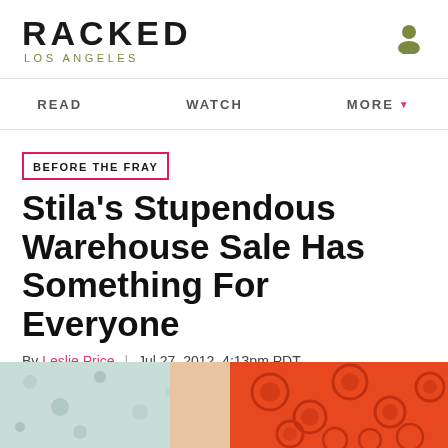RACKED LOS ANGELES
READ | WATCH | MORE
BEFORE THE FRAY
Stila's Stupendous Warehouse Sale Has Something For Everyone
By Leslie Price | Jul 27, 2012, 4:13pm PDT
f  [twitter]  [share] SHARE
[Figure (photo): Bottom portion showing a hand holding red items, and a decorative background with floral patterns.]